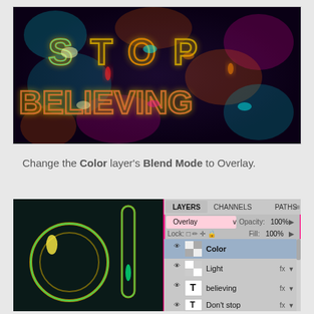[Figure (screenshot): Neon glowing text effect showing 'DON'T STOP BELIEVING' on a dark background with colorful neon glow effects in teal, orange, pink, and yellow]
Change the Color layer's Blend Mode to Overlay.
[Figure (screenshot): Photoshop screenshot showing a neon text effect on the left with the Layers panel open on the right. The Layers panel shows: blend mode set to Overlay, Opacity 100%, Fill 100%, with layers named Color (selected/highlighted), Light (with fx), believing (text layer with fx), Don't stop (text layer)]